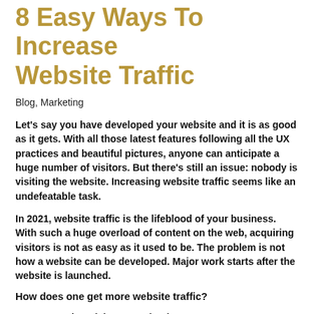8 Easy Ways To Increase Website Traffic
Blog, Marketing
Let's say you have developed your website and it is as good as it gets. With all those latest features following all the UX practices and beautiful pictures, anyone can anticipate a huge number of visitors. But there's still an issue: nobody is visiting the website. Increasing website traffic seems like an undefeatable task.
In 2021, website traffic is the lifeblood of your business. With such a huge overload of content on the web, acquiring visitors is not as easy as it used to be. The problem is not how a website can be developed. Major work starts after the website is launched.
How does one get more website traffic?
No matter what niche you're in, there are some great ways to help you with your quest for more visitors. Increasing website traffic might seem like an easy thing to do at first. But once you really think about it, there are various different answers that will contribute to increasing your site's traffic. And it can get confusing